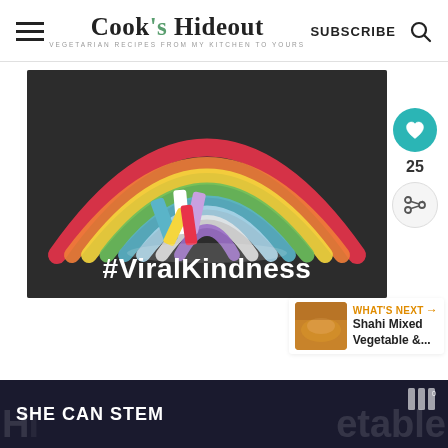Cook's Hideout — VEGETARIAN RECIPES FROM MY KITCHEN TO YOURS — SUBSCRIBE
[Figure (photo): Chalk rainbow drawn on dark asphalt with chalk sticks visible, text #ViralKindness overlaid in bold white]
25
WHAT'S NEXT → Shahi Mixed Vegetable &...
SHE CAN STEM